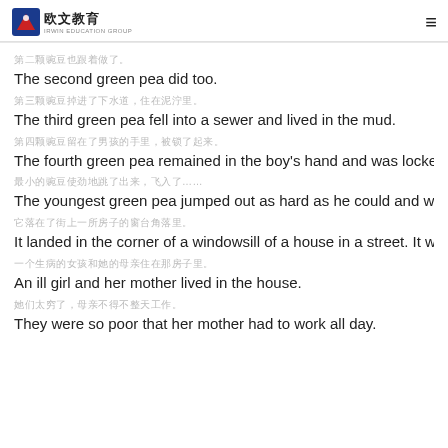欧文教育 | IRWIN EDUCATION GROUP
第二颗豌豆也跟着做了。
The second green pea did too.
第三颗豌豆掉进了下水道，住在泥泞里。
The third green pea fell into a sewer and lived in the mud.
第四颗豌豆留在了男孩的手里，被锁了起来。
The fourth green pea remained in the boy's hand and was locked
最小的豌豆使劲地跳了出来，飞入了……
The youngest green pea jumped out as hard as he could and we
它落在了街上一所房子的窗台角落里。
It landed in the corner of a windowsill of a house in a street. It wa
一个生病的女孩和她的母亲住在那房子里。
An ill girl and her mother lived in the house.
她们太穷了，母亲不得不整天工作。
They were so poor that her mother had to work all day.